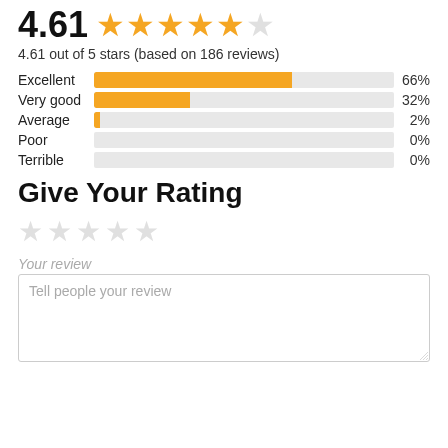4.61 ★★★★½
4.61 out of 5 stars (based on 186 reviews)
[Figure (bar-chart): Review distribution]
Give Your Rating
Your review
Tell people your review